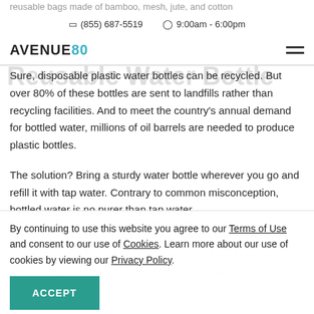reusable bags made of bamboo, mesh, jute, and cotton
(855) 687-5519   9:00am - 6:00pm
AVENUE80
Reusable Water Bottle
Sure, disposable plastic water bottles can be recycled. But over 80% of these bottles are sent to landfills rather than recycling facilities. And to meet the country’s annual demand for bottled water, millions of oil barrels are needed to produce plastic bottles.
The solution? Bring a sturdy water bottle wherever you go and refill it with tap water. Contrary to common misconception, bottled water is no purer than tap water.
Rechargeable Batteries
Another household item that typically ends up in landfills rather than a recycling facility? Disposable batteries.
metals and toxic chemicals, disposable batteries are undoubtedly hazardous to the environment. So M
By continuing to use this website you agree to our Terms of Use and consent to our use of Cookies. Learn more about our use of cookies by viewing our Privacy Policy.
ACCEPT